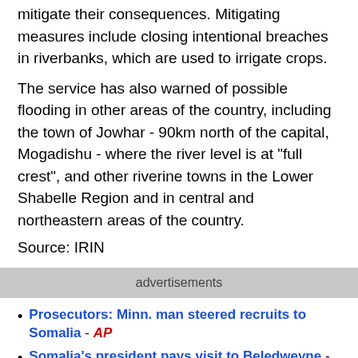mitigate their consequences. Mitigating measures include closing intentional breaches in riverbanks, which are used to irrigate crops.
The service has also warned of possible flooding in other areas of the country, including the town of Jowhar - 90km north of the capital, Mogadishu - where the river level is at "full crest", and other riverine towns in the Lower Shabelle Region and in central and northeastern areas of the country.
Source: IRIN
advertisements
Prosecutors: Minn. man steered recruits to Somalia - AP
Somalia's president pays visit to Beledweyne - HOL
MSF Opposes Repatriation of Somali Refugees - CapitalFM
Kenyan police post targeted, al Shabaab suspected - Reuters